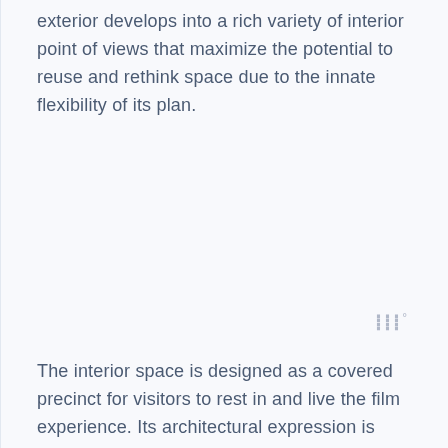exterior develops into a rich variety of interior point of views that maximize the potential to reuse and rethink space due to the innate flexibility of its plan.
The interior space is designed as a covered precinct for visitors to rest in and live the film experience. Its architectural expression is generated from the repetition